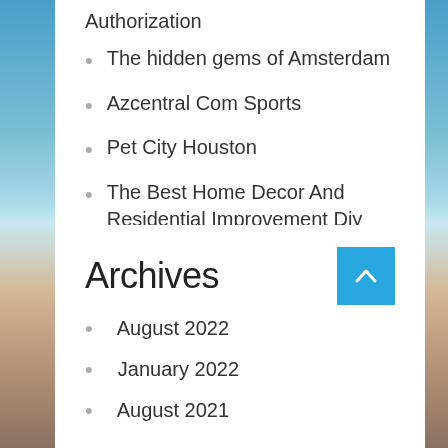Authorization
The hidden gems of Amsterdam
Azcentral Com Sports
Pet City Houston
The Best Home Decor And Residential Improvement Diy Tasks Of 2019
Archives
August 2022
January 2022
August 2021